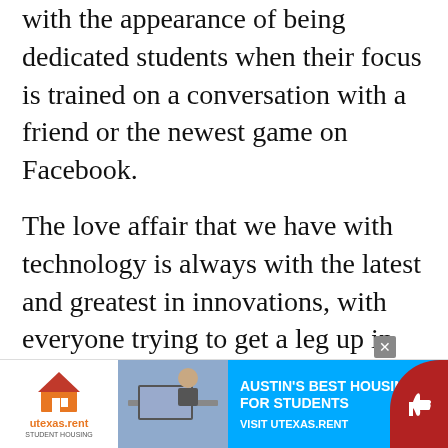with the appearance of being dedicated students when their focus is trained on a conversation with a friend or the newest game on Facebook.
The love affair that we have with technology is always with the latest and greatest in innovations, with everyone trying to get a leg up in the competition. Currently, University IT staff are searching for a replacement for Blackboard that will allow for easy, more reliable file transfer and faster communication. Do these requirements sound familiar? Facebook maybe? Many places are already trying to synchronize their electronic communications, including jumping on the social network bandwagon. Should UT? Although it would be potentially useful to have access to professors, assignments, friends and grades all on one w... work...
[Figure (other): Advertisement banner for utexas.rent student housing with photo of student at laptop and blue background with text 'Austin's Best Housing For Students - Visit UTEXAS.RENT']